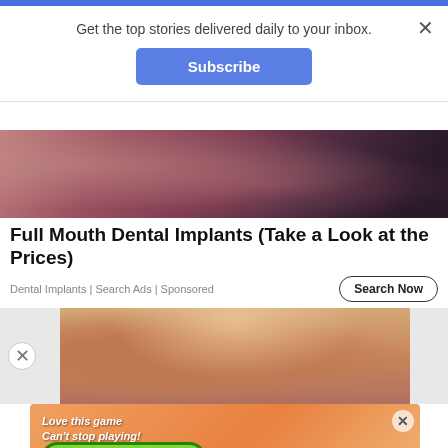Get the top stories delivered daily to your inbox.
Subscribe
[Figure (photo): Close-up of human skin with dark purple/maroon tones, partially obscured dental implant advertisement image]
Full Mouth Dental Implants (Take a Look at the Prices)
Dental Implants | Search Ads | Sponsored
Search Now
[Figure (photo): Partial face of person with red/auburn hair looking over glasses]
[Figure (infographic): Mobile game advertisement with orange bubble background, text 'Love this game Can't stop playing!' and green 'Download Now' button, Bubble Shooter Animal World branding]